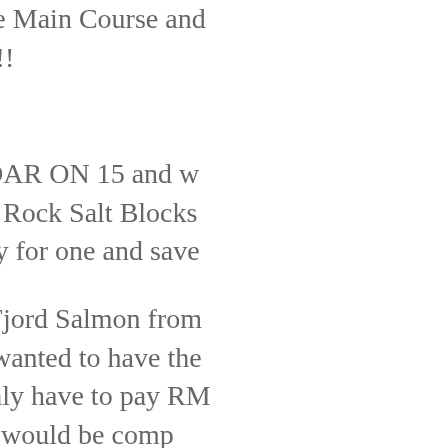The offer is for you to purchase one Main Course and get another Main Course for free...!!!
So imagine if you were at the CEDAR ON 15 and were to order the Wagyu Beef served on Himalayan Rock Salt Blocks at RM88 each... you would only have to pay for one and save a bundle!
Or if you were to be enjoying the Fjord Salmon from Norway at RM58 and your colleague or date wanted to have the Seafood Aglio Spaghetti which cost RM48, you only have to pay RM58 whereas the Seafood Aglio Olio would be complimentary!
How awesome is that!!!
With the Entertainer Malaysia, you can buy one get one free ... offers are valid until 30th December 2016 (excluding public holidays) and these can really save you up to MYR 47, ... over 92 of the offers have an estimated savings value th...